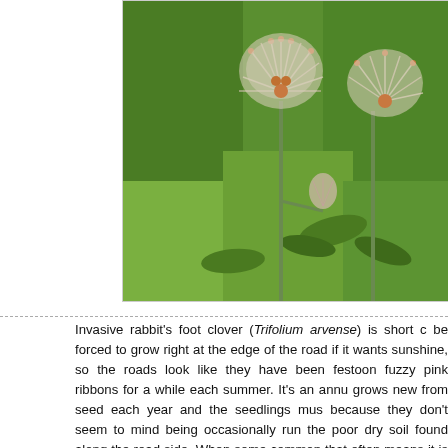[Figure (photo): Close-up photograph of invasive rabbit's foot clover (Trifolium arvense) showing fuzzy, feathery white-pink flower heads on green stems against a blurred green background.]
Invasive rabbit's foot clover (Trifolium arvense) is short and be forced to grow right at the edge of the road if it wants sunshine, so the roads look like they have been festooned fuzzy pink ribbons for a while each summer. It's an annu grows new from seed each year and the seedlings mus because they don't seem to mind being occasionally run the poor dry soil found along the road side. When some common that often means it is ignored, but as so often